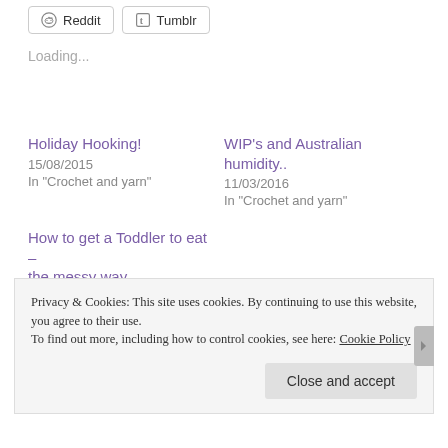Reddit
Tumblr
Loading...
Holiday Hooking!
15/08/2015
In "Crochet and yarn"
WIP's and Australian humidity..
11/03/2016
In "Crochet and yarn"
How to get a Toddler to eat – the messy way
31/03/2015
In "Food"
Privacy & Cookies: This site uses cookies. By continuing to use this website, you agree to their use.
To find out more, including how to control cookies, see here: Cookie Policy
Close and accept